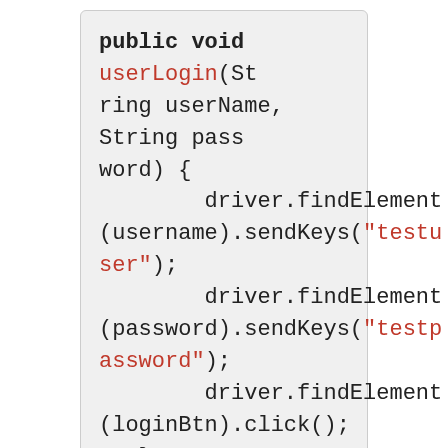[Figure (screenshot): Code block showing Java Selenium userLogin method with findElement and sendKeys calls using 'testuser' and 'testpassword' strings, ending with loginBtn click.]
And the below is the simple code written using Page Factory in Selenium: